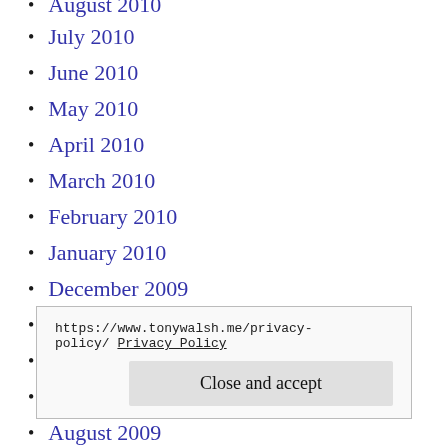August 2010
July 2010
June 2010
May 2010
April 2010
March 2010
February 2010
January 2010
December 2009
November 2009
October 2009
September 2009
August 2009
https://www.tonywalsh.me/privacy-policy/ Privacy Policy
Close and accept
April 2009